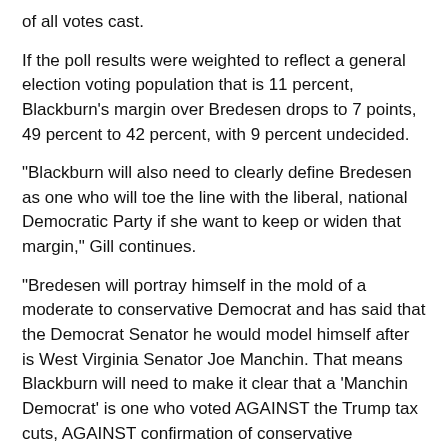of all votes cast.
If the poll results were weighted to reflect a general election voting population that is 11 percent, Blackburn's margin over Bredesen drops to 7 points, 49 percent to 42 percent, with 9 percent undecided.
“Blackburn will also need to clearly define Bredesen as one who will toe the line with the liberal, national Democratic Party if she want to keep or widen that margin,” Gill continues.
“Bredesen will portray himself in the mold of a moderate to conservative Democrat and has said that the Democrat Senator he would model himself after is West Virginia Senator Joe Manchin. That means Blackburn will need to make it clear that a ‘Manchin Democrat’ is one who voted AGAINST the Trump tax cuts, AGAINST confirmation of conservative Supreme Court Justice Neil Gorsuch and FOR liberal Justices Sonia Sotomayor and Elena Kagan, among other things. A “Manchin Democrat” would also put liberal New York Senator